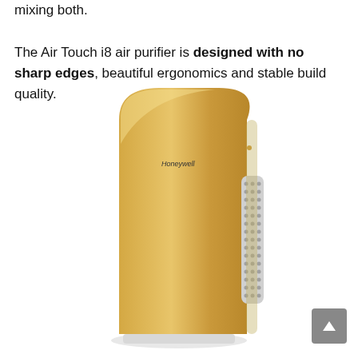mixing both.

The Air Touch i8 air purifier is designed with no sharp edges, beautiful ergonomics and stable build quality.
[Figure (photo): Photo of a Honeywell Air Touch i8 air purifier in gold/champagne color with rounded edges and a ventilation grille on the right side, sitting on a white base.]